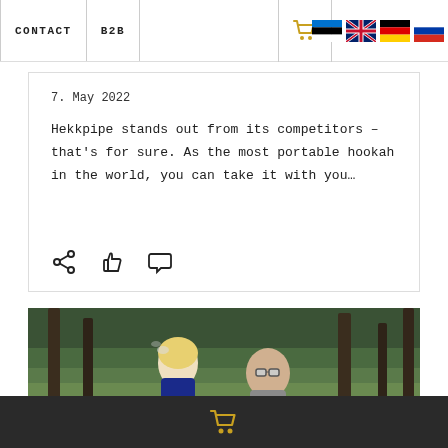CONTACT | B2B
7. May 2022
Hekkpipe stands out from its competitors – that's for sure. As the most portable hookah in the world, you can take it with you...
[Figure (photo): Two people in a forest, a blonde woman smoking and a man sitting beside her]
Shopping cart icon